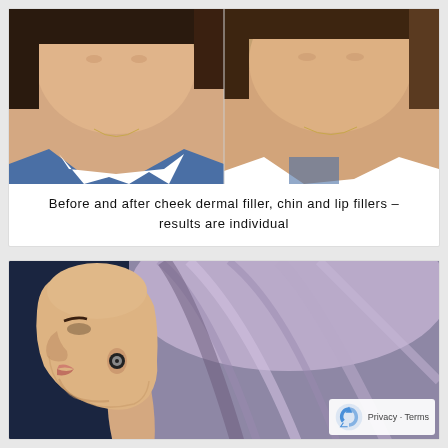[Figure (photo): Before and after side-by-side photos showing a woman's face from the front. Left panel shows before treatment, right panel shows after cheek dermal filler, chin and lip fillers.]
Before and after cheek dermal filler, chin and lip fillers – results are individual
[Figure (photo): Side profile photo of a woman with lavender/silver hair showing face profile, likely a before or after shot for cosmetic filler treatment.]